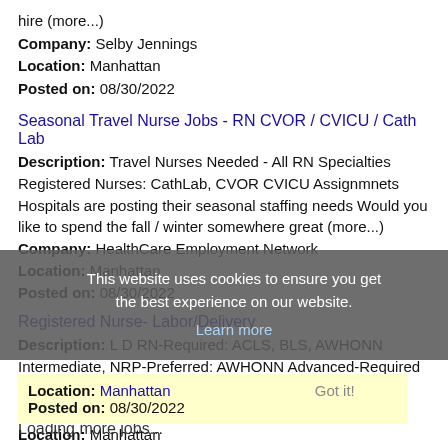hire (more...)
Company: Selby Jennings
Location: Manhattan
Posted on: 08/30/2022
Seasonal Travel Nurse Jobs - RN CVOR / CVICU / Cath Lab
Description: Travel Nurses Needed - All RN Specialties Registered Nurses: CathLab, CVOR CVICU Assignmnets Hospitals are posting their seasonal staffing needs Would you like to spend the fall / winter somewhere great (more...)
Company: HealthCare Employment Network
Location: Manhattan
Posted on: 08/30/2022
Registered Nurse- Labor/Delivery
Description: L D RN-Required: ACLS, BLS, AWHONN Intermediate, NRP-Preferred: AWHONN Advanced-Required Skills: Circulate, Triage - Every third weekend
Company: Advantis Medical Staffing
Location: Manhattan
Posted on: 08/30/2022
This website uses cookies to ensure you get the best experience on our website.
Learn more
Got it!
Loading more jobs...